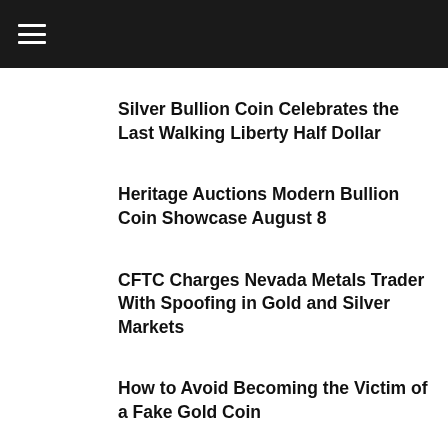☰
Silver Bullion Coin Celebrates the Last Walking Liberty Half Dollar
Heritage Auctions Modern Bullion Coin Showcase August 8
CFTC Charges Nevada Metals Trader With Spoofing in Gold and Silver Markets
How to Avoid Becoming the Victim of a Fake Gold Coin